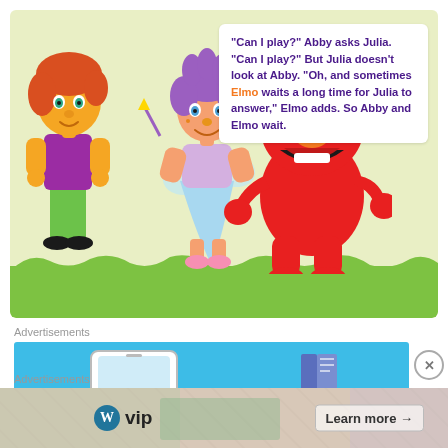[Figure (illustration): Sesame Street illustration showing Julia (girl with red hair, purple shirt, green pants), Abby Cadabby (fairy with purple hair and blue dress), and Elmo (red monster) standing together on a green grassy background. A speech bubble reads: '"Can I play?" Abby asks Julia. "Can I play?" But Julia doesn't look at Abby. "Oh, and sometimes Elmo waits a long time for Julia to answer," Elmo adds. So Abby and Elmo wait.']
Advertisements
[Figure (screenshot): Advertisement banner with blue background showing a phone mockup and a book icon.]
Advertisements
[Figure (infographic): WordPress VIP advertisement banner with background pattern, WP logo, 'vip' text, and 'Learn more →' button.]